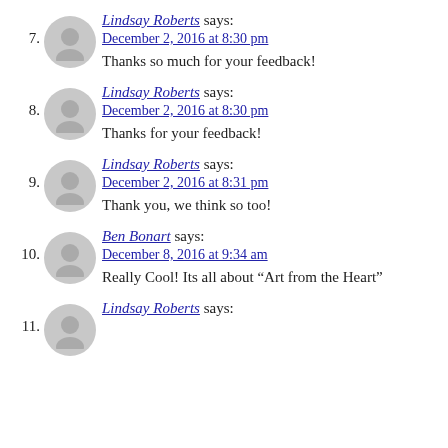7. Lindsay Roberts says: December 2, 2016 at 8:30 pm
Thanks so much for your feedback!
8. Lindsay Roberts says: December 2, 2016 at 8:30 pm
Thanks for your feedback!
9. Lindsay Roberts says: December 2, 2016 at 8:31 pm
Thank you, we think so too!
10. Ben Bonart says: December 8, 2016 at 9:34 am
Really Cool! Its all about “Art from the Heart”
11. Lindsay Roberts says: